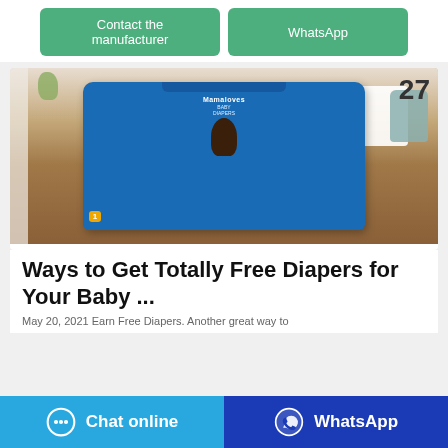[Figure (screenshot): Two green buttons: 'Contact the manufacturer' and 'WhatsApp']
[Figure (photo): Photo of Mamaloves Baby Diapers product packaging on a wooden surface with a white basket in the background. Number 27 appears to the right.]
Ways to Get Totally Free Diapers for Your Baby ...
May 20, 2021 Earn Free Diapers. Another great way to
[Figure (screenshot): Bottom bar with 'Chat online' button (blue) and 'WhatsApp' button (dark blue)]